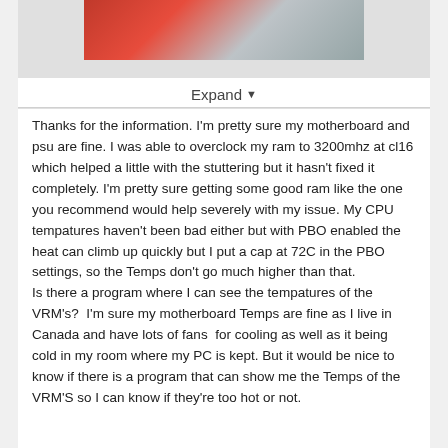[Figure (photo): Partial image visible at top of card, showing colorful scene cropped at the top edge]
Expand ▾
Thanks for the information. I'm pretty sure my motherboard and psu are fine. I was able to overclock my ram to 3200mhz at cl16 which helped a little with the stuttering but it hasn't fixed it completely. I'm pretty sure getting some good ram like the one you recommend would help severely with my issue. My CPU tempatures haven't been bad either but with PBO enabled the heat can climb up quickly but I put a cap at 72C in the PBO settings, so the Temps don't go much higher than that.
Is there a program where I can see the tempatures of the VRM's?  I'm sure my motherboard Temps are fine as I live in Canada and have lots of fans  for cooling as well as it being cold in my room where my PC is kept. But it would be nice to know if there is a program that can show me the Temps of the VRM'S so I can know if they're too hot or not.